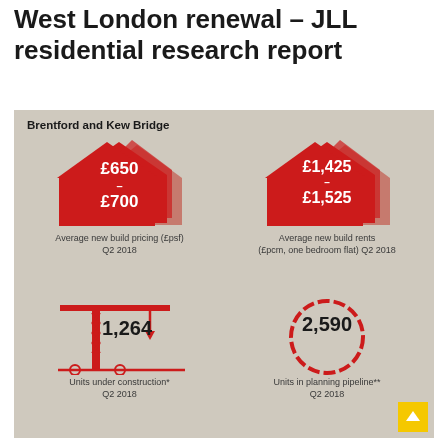West London renewal – JLL residential research report
[Figure (infographic): Brentford and Kew Bridge residential statistics infographic showing: Average new build pricing (£psf) Q2 2018: £650–£700; Average new build rents (£pcm, one bedroom flat) Q2 2018: £1,425–£1,525; Units under construction* Q2 2018: 1,264; Units in planning pipeline** Q2 2018: 2,590]